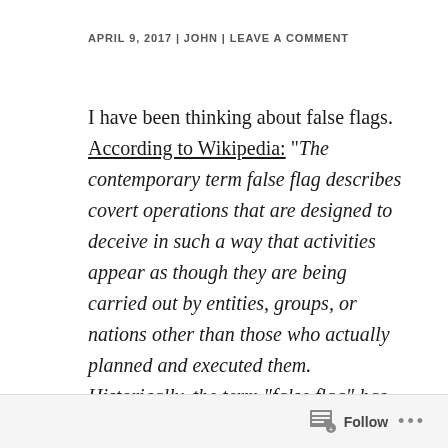APRIL 9, 2017 | JOHN | LEAVE A COMMENT
I have been thinking about false flags. According to Wikipedia: “The contemporary term false flag describes covert operations that are designed to deceive in such a way that activities appear as though they are being carried out by entities, groups, or nations other than those who actually planned and executed them. Historically, the term “false flag” has its origins in naval warfare where the use of a flag other than the belligerent’s true
Follow •••